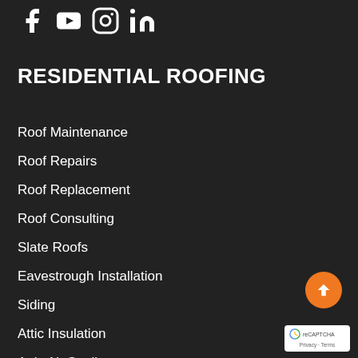Social media icons: Facebook, YouTube, Instagram, LinkedIn
RESIDENTIAL ROOFING
Roof Maintenance
Roof Repairs
Roof Replacement
Roof Consulting
Slate Roofs
Eavestrough Installation
Siding
Attic Insulation
Attic Air Sealing
Attic Ventilation
Skylights